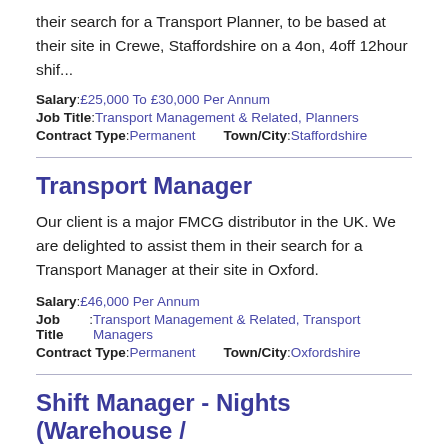their search for a Transport Planner, to be based at their site in Crewe, Staffordshire on a 4on, 4off 12hour shif...
Salary: £25,000 To £30,000 Per Annum
Job Title: Transport Management & Related, Planners
Contract Type: Permanent    Town/City: Staffordshire
Transport Manager
Our client is a major FMCG distributor in the UK. We are delighted to assist them in their search for a Transport Manager at their site in Oxford.
Salary: £46,000 Per Annum
Job Title: Transport Management & Related, Transport Managers
Contract Type: Permanent    Town/City: Oxfordshire
Shift Manager - Nights (Warehouse /